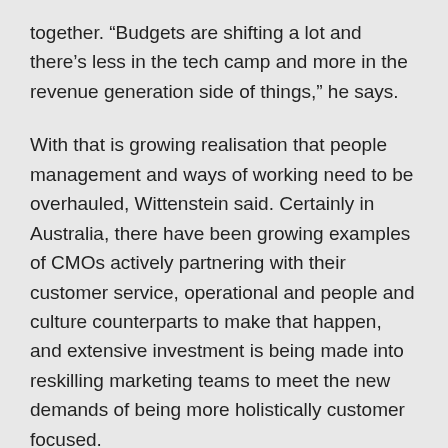together. "Budgets are shifting a lot and there's less in the tech camp and more in the revenue generation side of things," he says.
With that is growing realisation that people management and ways of working need to be overhauled, Wittenstein said. Certainly in Australia, there have been growing examples of CMOs actively partnering with their customer service, operational and people and culture counterparts to make that happen, and extensive investment is being made into reskilling marketing teams to meet the new demands of being more holistically customer focused.
Yet for Wittenstein, there's nowhere near enough change by design going on. He identified two fallouts arising as